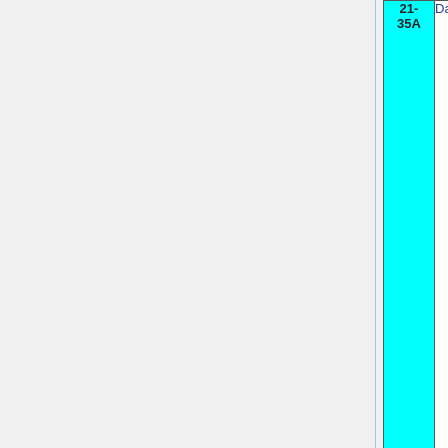| Case No. | Name | Notes |
| --- | --- | --- |
| 21-35A | Daniel Ros Lucas | 1.0
C-
Ho
ca |
|  |  |  |